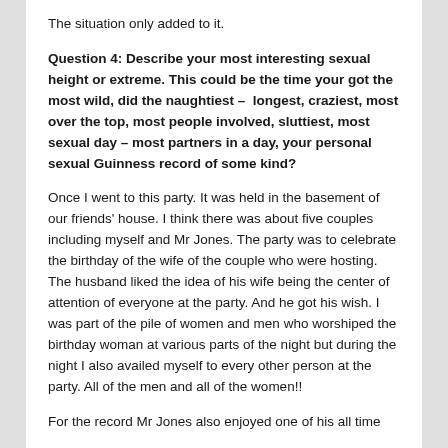The situation only added to it.
Question 4: Describe your most interesting sexual height or extreme. This could be the time your got the most wild, did the naughtiest –  longest, craziest, most over the top, most people involved, sluttiest, most sexual day – most partners in a day, your personal sexual Guinness record of some kind?
Once I went to this party. It was held in the basement of our friends' house. I think there was about five couples including myself and Mr Jones. The party was to celebrate the birthday of the wife of the couple who were hosting. The husband liked the idea of his wife being the center of attention of everyone at the party. And he got his wish. I was part of the pile of women and men who worshiped the birthday woman at various parts of the night but during the night I also availed myself to every other person at the party. All of the men and all of the women!!
For the record Mr Jones also enjoyed one of his all time